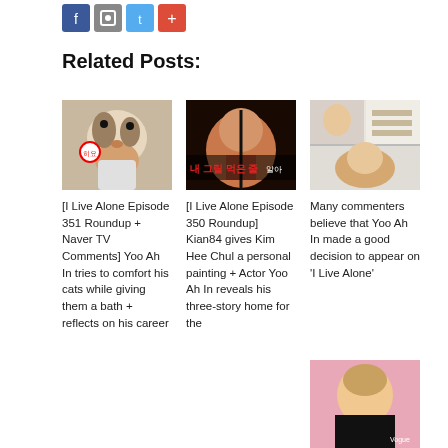Related Posts:
[Figure (photo): Thumbnail for I Live Alone Episode 351 – person holding a cat]
[I Live Alone Episode 351 Roundup + Naver TV Comments] Yoo Ah In tries to comfort his cats while giving them a bath + reflects on his career
[Figure (photo): Thumbnail for I Live Alone Episode 350 – woman smiling in car with Korean text overlay]
[I Live Alone Episode 350 Roundup] Kian84 gives Kim Hee Chul a personal painting + Actor Yoo Ah In reveals his three-story home for the
[Figure (photo): Thumbnail collage of multiple people from I Live Alone]
Many commenters believe that Yoo Ah In made a good decision to appear on 'I Live Alone'
[Figure (photo): Photo of a person at a Vogue event against a pink background]